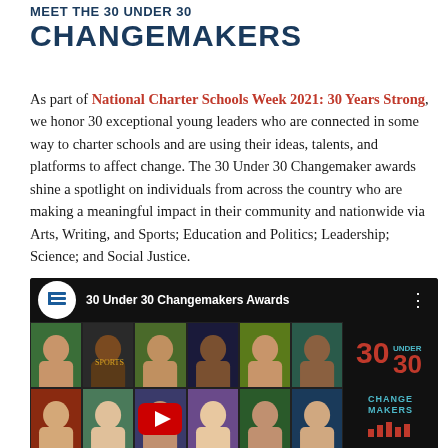MEET THE 30 UNDER 30 CHANGEMAKERS
As part of National Charter Schools Week 2021: 30 Years Strong, we honor 30 exceptional young leaders who are connected in some way to charter schools and are using their ideas, talents, and platforms to affect change. The 30 Under 30 Changemaker awards shine a spotlight on individuals from across the country who are making a meaningful impact in their community and nationwide via Arts, Writing, and Sports; Education and Politics; Leadership; Science; and Social Justice.
[Figure (screenshot): YouTube video thumbnail for '30 Under 30 Changemakers Awards' showing a grid of diverse young people's portraits in colorful backgrounds, with a YouTube play button overlay and a '30 Under 30 Change Makers' logo in the top right.]